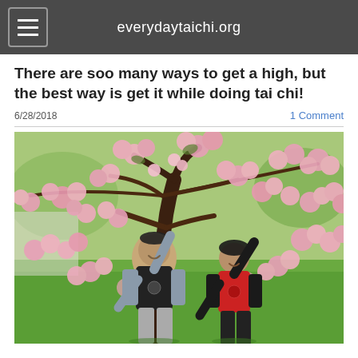everydaytaichi.org
There are soo many ways to get a high, but the best way is get it while doing tai chi!
6/28/2018
1 Comment
[Figure (photo): Two people practicing tai chi outdoors under a blooming cherry blossom tree with pink flowers, standing on green grass. The man on the left wears a black t-shirt and gray long sleeves, the woman on the right wears a red long-sleeve shirt. Both have arms raised in a tai chi pose.]